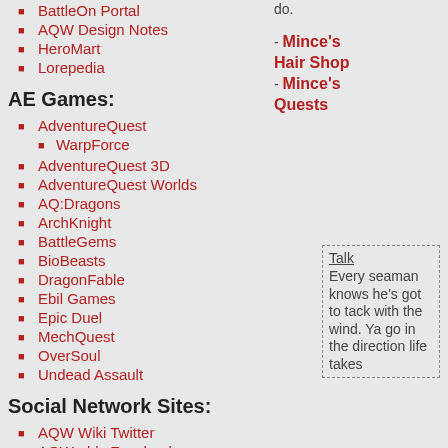BattleOn Portal
AQW Design Notes
HeroMart
Lorepedia
AE Games:
AdventureQuest
WarpForce
AdventureQuest 3D
AdventureQuest Worlds
AQ:Dragons
ArchKnight
BattleGems
BioBeasts
DragonFable
Ebil Games
Epic Duel
MechQuest
OverSoul
Undead Assault
Social Network Sites:
AQW Wiki Twitter
AQWorlds Facebook
AQWorlds Twitter
do.
- Mince's Hair Shop - Mince's Quests
Talk Every seaman knows he's got to tack with the wind. Ya go in the direction life takes